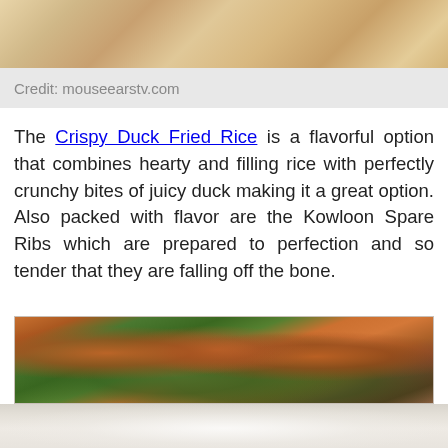[Figure (photo): Top portion of a food photo showing fried rice with colorful ingredients]
Credit: mouseearstv.com
The Crispy Duck Fried Rice is a flavorful option that combines hearty and filling rice with perfectly crunchy bites of juicy duck making it a great option. Also packed with flavor are the Kowloon Spare Ribs which are prepared to perfection and so tender that they are falling off the bone.
[Figure (photo): Photo of shrimp dish on a white plate with green vegetables and noodles below]